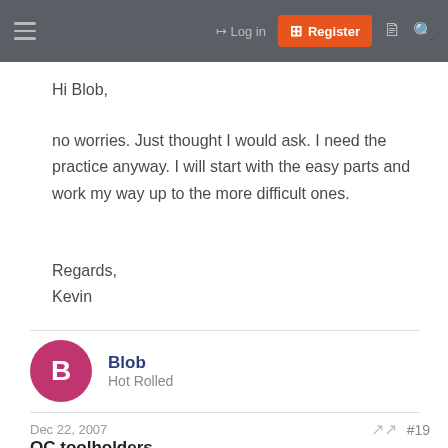Log in | Register
Hi Blob,
no worries. Just thought I would ask. I need the practice anyway. I will start with the easy parts and work my way up to the more difficult ones.
Regards,
Kevin
Blob
Hot Rolled
Dec 22, 2007 #19
QC toolholders